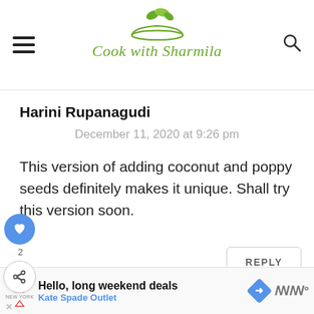Cook with Sharmila
Harini Rupanagudi
December 11, 2020 at 9:26 pm
This version of adding coconut and poppy seeds definitely makes it unique. Shall try this version soon.
REPLY
[Figure (other): Floating action buttons: heart (liked, count 2) and share icon]
WHAT'S NEXT → Cauliflower Stir Fry | Go...
Hello, long weekend deals Kate Spade Outlet